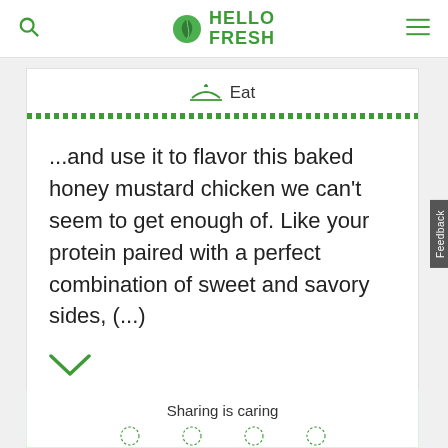HelloFresh
Eat
...and use it to flavor this baked honey mustard chicken we can't seem to get enough of. Like your protein paired with a perfect combination of sweet and savory sides, (...)
Sharing is caring